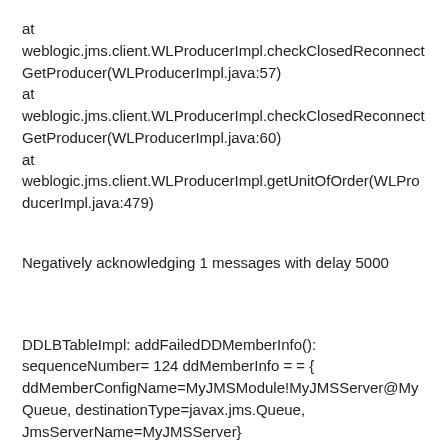at weblogic.jms.client.WLProducerImpl.checkClosedReconnectGetProducer(WLProducerImpl.java:57)
at weblogic.jms.client.WLProducerImpl.checkClosedReconnectGetProducer(WLProducerImpl.java:60)
at weblogic.jms.client.WLProducerImpl.getUnitOfOrder(WLProducerImpl.java:479)
Negatively acknowledging 1 messages with delay 5000
DDLBTableImpl: addFailedDDMemberInfo(): sequenceNumber= 124 ddMemberInfo = = { ddMemberConfigName=MyJMSModule!MyJMSServer@MyQueue, destinationType=javax.jms.Queue, JmsServerName=MyJMSServer}
weblogic.jms.forwarder.dd.internal.DDLoadBalancerDelegate